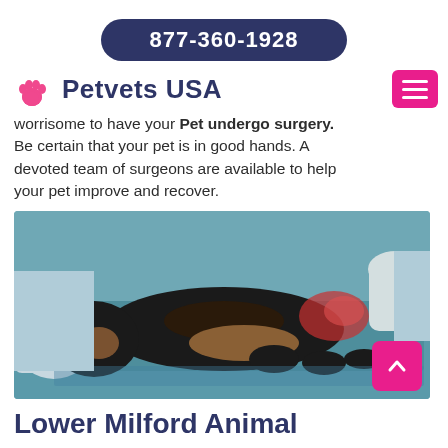877-360-1928
Petvets USA
worrisome to have your Pet undergo surgery. Be certain that your pet is in good hands. A devoted team of surgeons are available to help your pet improve and recover.
[Figure (photo): A black and tan dog lying on a veterinary surgery table being treated by a person in gloves and surgical scrubs. The dog appears to have a wound on its side.]
Lower Milford Animal